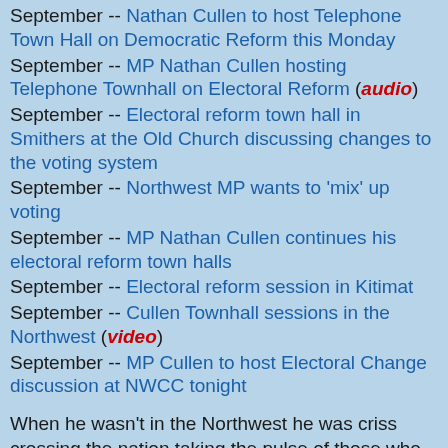September -- Nathan Cullen to host Telephone Town Hall on Democratic Reform this Monday
September -- MP Nathan Cullen hosting Telephone Townhall on Electoral Reform (audio)
September -- Electoral reform town hall in Smithers at the Old Church discussing changes to the voting system
September -- Northwest MP wants to 'mix' up voting
September -- MP Nathan Cullen continues his electoral reform town halls
September -- Electoral reform session in Kitimat
September -- Cullen Townhall sessions in the Northwest (video)
September -- MP Cullen to host Electoral Change discussion at NWCC tonight
When he wasn't in the Northwest he was criss crossing the nation taking the pulse of those who were inclined to participate, while offering up his own views on what he thought was the best way forward for the pursuit of a more effective parliamentary system.
To try and force the Liberals to change their mind and